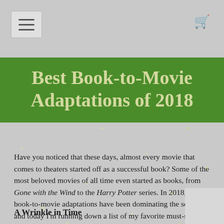Best Book-to-Movie Adaptations of 2018
Have you noticed that these days, almost every movie that comes to theaters started off as a successful book? Some of the most beloved movies of all time even started as books, from Gone with the Wind to the Harry Potter series. In 2018, these book-to-movie adaptations have been dominating the screens, and today I’m running down a list of my favorite must-sees!
A Wrinkle in Time